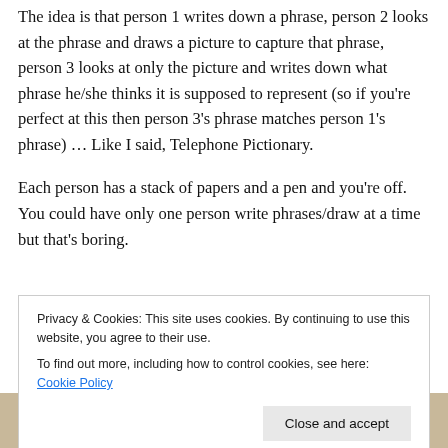The idea is that person 1 writes down a phrase, person 2 looks at the phrase and draws a picture to capture that phrase, person 3 looks at only the picture and writes down what phrase he/she thinks it is supposed to represent (so if you're perfect at this then person 3's phrase matches person 1's phrase) … Like I said, Telephone Pictionary.
Each person has a stack of papers and a pen and you're off. You could have only one person write phrases/draw at a time but that's boring.
Privacy & Cookies: This site uses cookies. By continuing to use this website, you agree to their use.
To find out more, including how to control cookies, see here: Cookie Policy
Close and accept
[Figure (photo): A photo strip at the bottom showing handwritten cursive text on what appears to be paper or cards.]